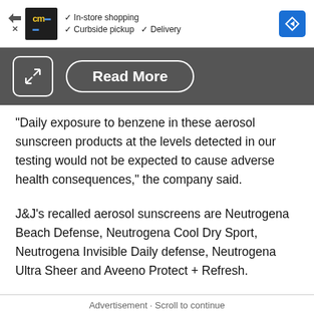[Figure (screenshot): Advertisement banner with CM logo, checkmarks for In-store shopping, Curbside pickup, Delivery, and a blue direction arrow icon on the right]
[Figure (screenshot): Dark gray toolbar with expand icon (arrows) on the left and a Read More button with rounded border]
"Daily exposure to benzene in these aerosol sunscreen products at the levels detected in our testing would not be expected to cause adverse health consequences," the company said.
J&J's recalled aerosol sunscreens are Neutrogena Beach Defense, Neutrogena Cool Dry Sport, Neutrogena Invisible Daily defense, Neutrogena Ultra Sheer and Aveeno Protect + Refresh.
Advertisement · Scroll to continue